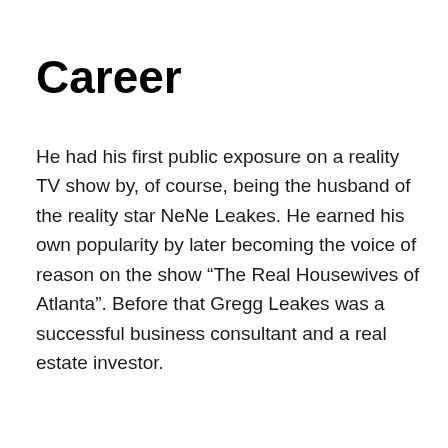Career
He had his first public exposure on a reality TV show by, of course, being the husband of the reality star NeNe Leakes. He earned his own popularity by later becoming the voice of reason on the show “The Real Housewives of Atlanta”. Before that Gregg Leakes was a successful business consultant and a real estate investor.